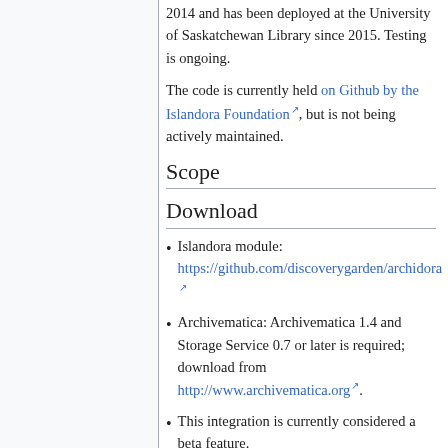2014 and has been deployed at the University of Saskatchewan Library since 2015. Testing is ongoing.
The code is currently held on Github by the Islandora Foundation, but is not being actively maintained.
Scope
Download
Islandora module: https://github.com/discoverygarden/archidora
Archivematica: Archivematica 1.4 and Storage Service 0.7 or later is required; download from http://www.archivematica.org.
This integration is currently considered a beta feature.